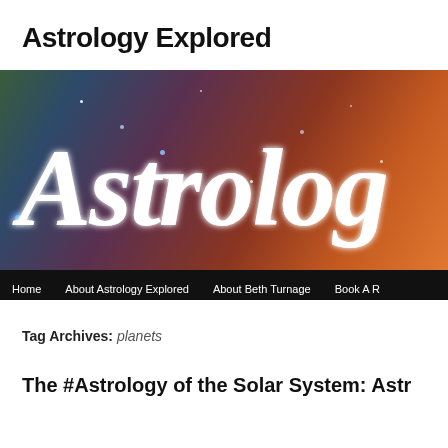Astrology Explored
[Figure (photo): Banner image with space/nebula background in red, orange, teal and purple tones with large cursive white text reading 'Astrology' partially visible, and a dark navigation bar at the bottom with links: Home, About Astrology Explored, About Beth Turnage, Book A R...]
Tag Archives: planets
The #Astrology of the Solar System: Astr